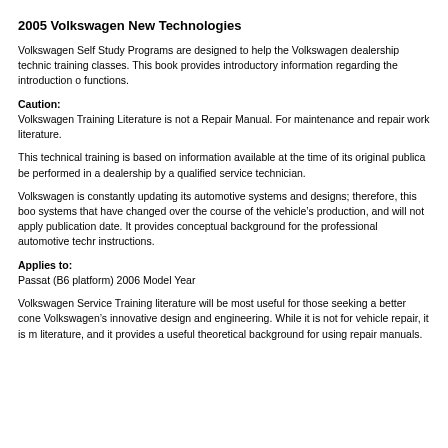2005 Volkswagen New Technologies
Volkswagen Self Study Programs are designed to help the Volkswagen dealership technic training classes. This book provides introductory information regarding the introduction o functions.
Caution:
Volkswagen Training Literature is not a Repair Manual. For maintenance and repair work literature.
This technical training is based on information available at the time of its original publica be performed in a dealership by a qualified service technician.
Volkswagen is constantly updating its automotive systems and designs; therefore, this boo systems that have changed over the course of the vehicle’s production, and will not apply publication date. It provides conceptual background for the professional automotive techr instructions.
Applies to:
Passat (B6 platform) 2006 Model Year
Volkswagen Service Training literature will be most useful for those seeking a better cone Volkswagen’s innovative design and engineering. While it is not for vehicle repair, it is m literature, and it provides a useful theoretical background for using repair manuals.